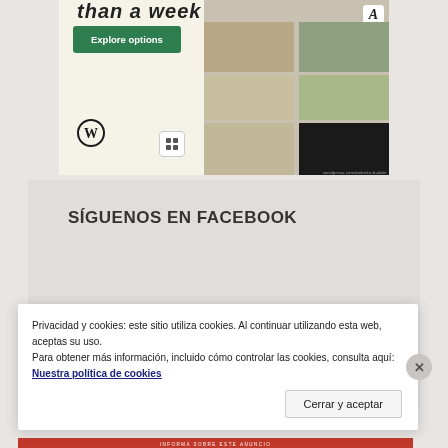[Figure (screenshot): Advertisement banner for WordPress website builder showing 'Explore options' button, WordPress logo, and food/restaurant app screenshots on tablet devices]
SÍGUENOS EN FACEBOOK
Privacidad y cookies: este sitio utiliza cookies. Al continuar utilizando esta web, aceptas su uso.
Para obtener más información, incluido cómo controlar las cookies, consulta aquí: Nuestra política de cookies
Cerrar y aceptar